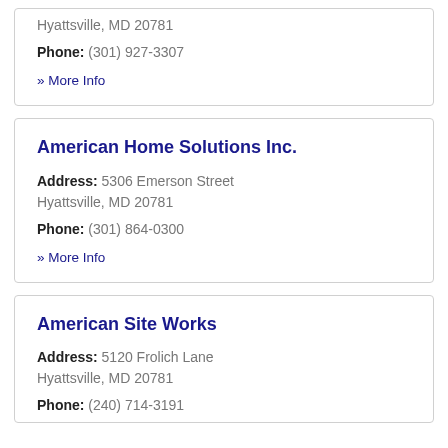Hyattsville, MD 20781
Phone: (301) 927-3307
» More Info
American Home Solutions Inc.
Address: 5306 Emerson Street Hyattsville, MD 20781
Phone: (301) 864-0300
» More Info
American Site Works
Address: 5120 Frolich Lane Hyattsville, MD 20781
Phone: (240) 714-3191